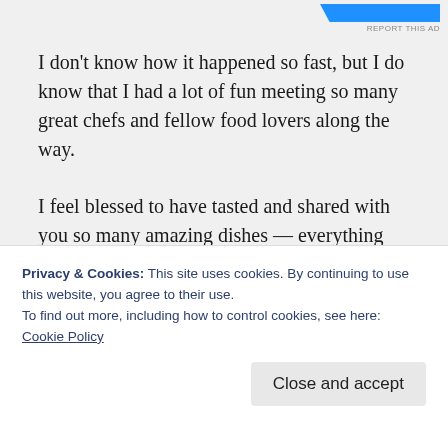[Figure (other): Blue ad banner in top right corner with 'REPORT THIS AD' label below]
I don't know how it happened so fast, but I do know that I had a lot of fun meeting so many great chefs and fellow food lovers along the way.
I feel blessed to have tasted and shared with you so many amazing dishes — everything from street food, hidden gems and fine dining to special events, new openings and pop-up dinners.
Through the countless hours (which would add up to multiple weeks of my life!) filming, hosting, arranging, editing
Privacy & Cookies: This site uses cookies. By continuing to use this website, you agree to their use.
To find out more, including how to control cookies, see here: Cookie Policy
Close and accept
requests from my amazing followers — I'm working on